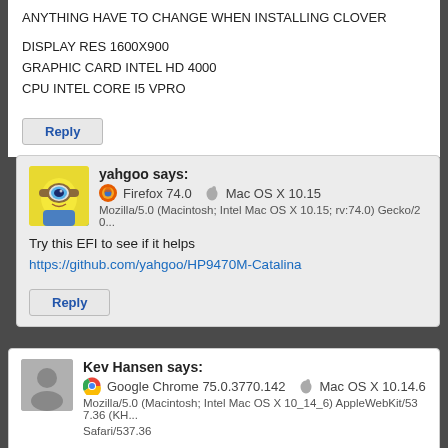ANYTHING HAVE TO CHANGE WHEN INSTALLING CLOVER
DISPLAY RES 1600X900
GRAPHIC CARD INTEL HD 4000
CPU INTEL CORE I5 VPRO
Reply
yahgoo says:
Firefox 74.0   Mac OS X 10.15
Mozilla/5.0 (Macintosh; Intel Mac OS X 10.15; rv:74.0) Gecko/20...
Try this EFI to see if it helps
https://github.com/yahgoo/HP9470M-Catalina
Reply
Kev Hansen says:
Google Chrome 75.0.3770.142   Mac OS X 10.14.6
Mozilla/5.0 (Macintosh; Intel Mac OS X 10_14_6) AppleWebKit/537.36 (KH... Safari/537.36
Iniline upgrade to 10.14.6 succeded!
Reply